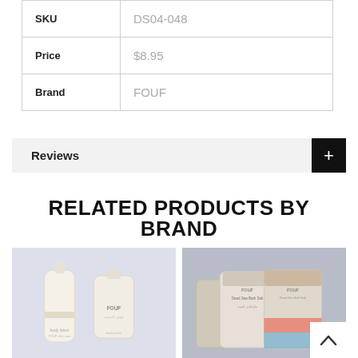| SKU | DS04-048 |
| Price | $8.95 |
| Brand | FOUF |
Reviews
RELATED PRODUCTS BY BRAND
[Figure (photo): Two FOUF body lotion product tubes/containers on a light blue-grey background]
[Figure (photo): FOUF Dead Sea Bath Salt pouches in multiple colors on a grey background, with a white up-arrow navigation button overlay]